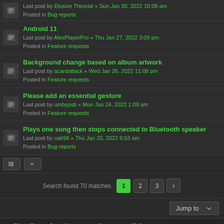Last post by Elusive Theorist « Sun Jan 30, 2022 10:08 am
Posted in Bug reports
Android 11
Last post by AlexPlayerPro « Thu Jan 27, 2022 3:09 pm
Posted in Feature requests
Background change based on album artwork
Last post by acardattack « Wed Jan 26, 2022 11:08 pm
Posted in Feature requests
Please add an essential gesture
Last post by umbypsb « Mon Jan 24, 2022 1:09 am
Posted in Feature requests
Plays one song then stops connected to Bluetooth speaker
Last post by oak98 « Thu Jan 20, 2022 8:53 am
Posted in Bug reports
Search found 70 matches  1  2  3  >
PlayerPro  «  Board index   Contact us   Delete cookies  All times are UTC
Powered by phpBB® Forum Software © phpBB Limited
Privacy | Terms